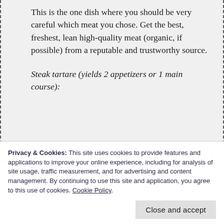This is the one dish where you should be very careful which meat you chose. Get the best, freshest, lean high-quality meat (organic, if possible) from a reputable and trustworthy source.
Steak tartare (yields 2 appetizers or 1 main course):
2 high-quality raw egg yolks
150g / 5.29oz high-quality lean beef
grapeseed oil or olive oil to coat the
Privacy & Cookies: This site uses cookies to provide features and applications to improve your online experience, including for analysis of site usage, traffic measurement, and for advertising and content management. By continuing to use this site and application, you agree to this use of cookies. Cookie Policy
Close and accept